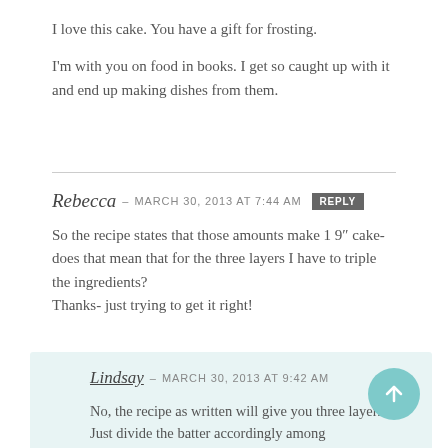I love this cake. You have a gift for frosting.
I'm with you on food in books. I get so caught up with it and end up making dishes from them.
Rebecca – MARCH 30, 2013 at 7:44 AM  REPLY
So the recipe states that those amounts make 1 9" cake- does that mean that for the three layers I have to triple the ingredients?
Thanks- just trying to get it right!
Lindsay – MARCH 30, 2013 at 9:42 AM
No, the recipe as written will give you three layers. Just divide the batter accordingly among